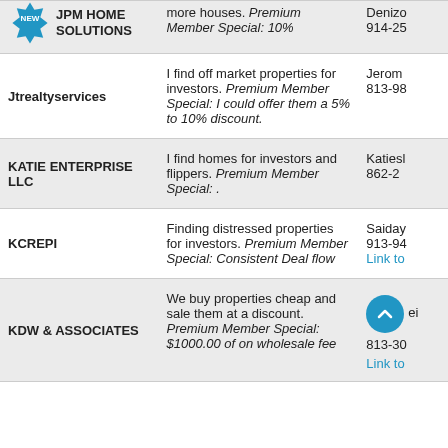| Name | Description | Contact |
| --- | --- | --- |
| JPM HOME SOLUTIONS | more houses. Premium Member Special: 10% | Denizo 914-25 |
| Jtrealtyservices | I find off market properties for investors. Premium Member Special: I could offer them a 5% to 10% discount. | Jerom 813-98 |
| KATIE ENTERPRISE LLC | I find homes for investors and flippers. Premium Member Special: . | Katiesl 862-2 |
| KCREPI | Finding distressed properties for investors. Premium Member Special: Consistent Deal flow | Saiday 913-94 Link to |
| KDW & ASSOCIATES | We buy properties cheap and sale them at a discount. Premium Member Special: $1000.00 of on wholesale fee | K 813-30 Link to |